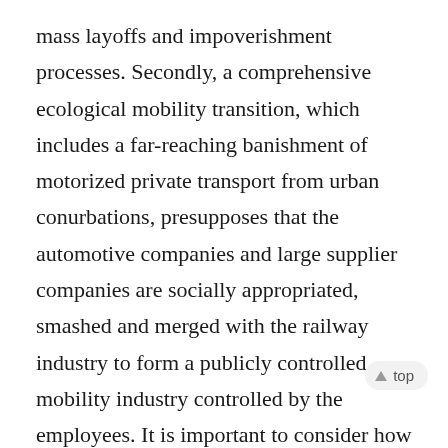mass layoffs and impoverishment processes. Secondly, a comprehensive ecological mobility transition, which includes a far-reaching banishment of motorized private transport from urban conurbations, presupposes that the automotive companies and large supplier companies are socially appropriated, smashed and merged with the railway industry to form a publicly controlled mobility industry controlled by the employees. It is important to consider how this perspective can be sharpened with a socially broadly understood campaign. The third axis aims at the social appropriation of